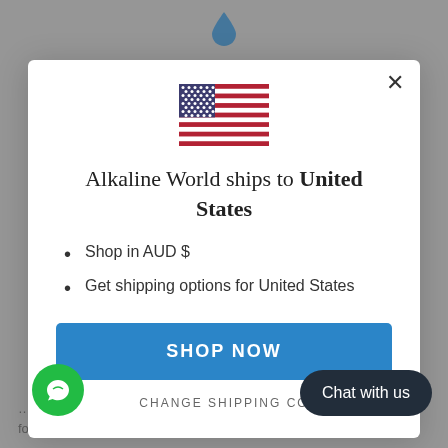[Figure (screenshot): Modal dialog on a website for Alkaline World showing country shipping selection with US flag, options to shop in AUD $ and get shipping for United States, a Shop Now button, a Change Shipping Country link, a green chat icon and a Chat with us pill button.]
Alkaline World ships to United States
Shop in AUD $
Get shipping options for United States
SHOP NOW
CHANGE SHIPPING CO...
Chat with us